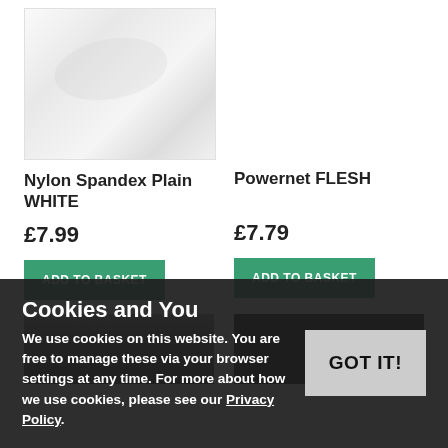[Figure (photo): White nylon spandex fabric, crumpled/folded texture on white background]
Nylon Spandex Plain WHITE
£7.99
ADD TO BASKET
Powernet FLESH
£7.79
ADD TO BASKET
[Figure (photo): Dark grey/black mesh fabric photo]
[Figure (photo): Black fabric photo]
Cookies and You
We use cookies on this website. You are free to manage these via your browser settings at any time. For more about how we use cookies, please see our Privacy Policy.
GOT IT!